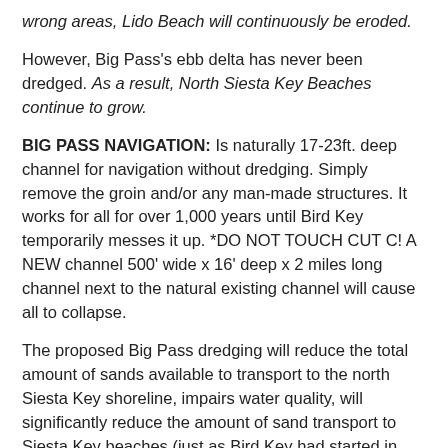wrong areas, Lido Beach will continuously be eroded.
However, Big Pass's ebb delta has never been dredged. As a result, North Siesta Key Beaches continue to grow.
BIG PASS NAVIGATION: Is naturally 17-23ft. deep channel for navigation without dredging. Simply remove the groin and/or any man-made structures. It works for all for over 1,000 years until Bird Key temporarily messes it up. *DO NOT TOUCH CUT C! A NEW channel 500' wide x 16' deep x 2 miles long channel next to the natural existing channel will cause all to collapse.
The proposed Big Pass dredging will reduce the total amount of sands available to transport to the north Siesta Key shoreline, impairs water quality, will significantly reduce the amount of sand transport to Siesta Key beaches (just as Bird Key had started in 1950).
(partial text continues below)